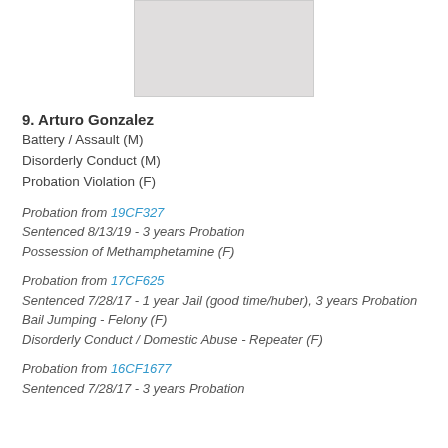[Figure (photo): Partial photo/mugshot of Arturo Gonzalez, showing lower portion]
9. Arturo Gonzalez
Battery / Assault (M)
Disorderly Conduct (M)
Probation Violation (F)
Probation from 19CF327
Sentenced 8/13/19 - 3 years Probation
Possession of Methamphetamine (F)
Probation from 17CF625
Sentenced 7/28/17 - 1 year Jail (good time/huber), 3 years Probation
Bail Jumping - Felony (F)
Disorderly Conduct / Domestic Abuse - Repeater (F)
Probation from 16CF1677
Sentenced 7/28/17 - 3 years Probation